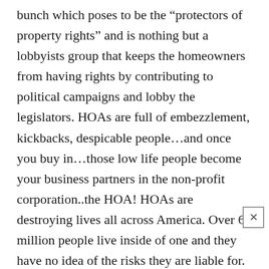bunch which poses to be the “protectors of property rights” and is nothing but a lobbyists group that keeps the homeowners from having rights by contributing to political campaigns and lobby the legislators. HOAs are full of embezzlement, kickbacks, despicable people…and once you buy in…those low life people become your business partners in the non-profit corporation..the HOA! HOAs are destroying lives all across America. Over 60 million people live inside of one and they have no idea of the risks they are liable for. Everybody seems to learn the hard way. I am trying to change that by providing education and directing people to sources that are telling the truth. If you have any interest in